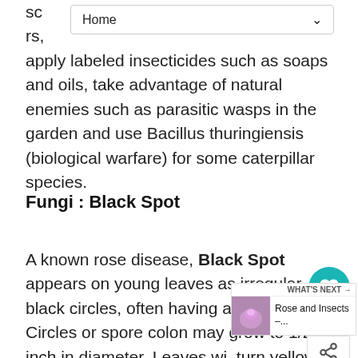Home
sco…rs, apply labeled insecticides such as soaps and oils, take advantage of natural enemies such as parasitic wasps in the garden and use Bacillus thuringiensis (biological warfare) for some caterpillar species.
Fungi : Black Spot
A known rose disease, Black Spot appears on young leaves as irregular black circles, often having a yellow halo. Circles or spore colon may grow to 1/2 inch in diameter. Leaves will turn yellow and drop off, only to produce leaves that will follow the same pattern. Roses may not make it through the winter if black spot